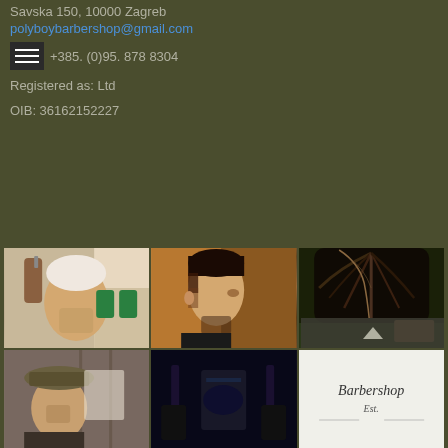Savska 150, 10000 Zagreb
polyboybarbershop@gmail.com
+385. (0)95. 878 8304
Registered as: Ltd
OIB: 36162152227
[Figure (photo): Three barbershop photos in top row: elderly man getting haircut, man with fade haircut side profile, close-up of slicked back hair]
[Figure (photo): Three barbershop photos in bottom row: man with hat, dark interior shot, text/logo on white background]